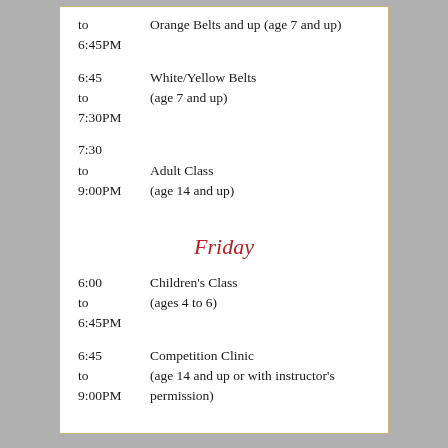to   Orange Belts and up (age 7 and up)
6:45PM
6:45
to   White/Yellow Belts (age 7 and up)
7:30PM
7:30
to   Adult Class (age 14 and up)
9:00PM
Friday
6:00
to   Children's Class (ages 4 to 6)
6:45PM
6:45
to   Competition Clinic (age 14 and up or with instructor's permission)
9:00PM